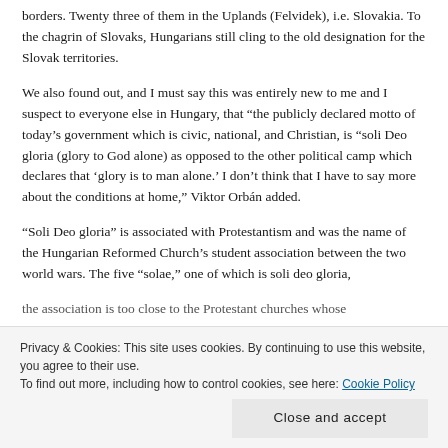borders. Twenty three of them in the Uplands (Felvidek), i.e. Slovakia. To the chagrin of Slovaks, Hungarians still cling to the old designation for the Slovak territories.
We also found out, and I must say this was entirely new to me and I suspect to everyone else in Hungary, that “the publicly declared motto of today’s government which is civic, national, and Christian, is “soli Deo gloria (glory to God alone) as opposed to the other political camp which declares that ‘glory is to man alone.’ I don’t think that I have to say more about the conditions at home,” Viktor Orbán added.
“Soli Deo gloria” is associated with Protestantism and was the name of the Hungarian Reformed Church’s student association between the two world wars. The five “solae,” one of which is soli deo gloria,
the association is too close to the Protestant churches whose
Privacy & Cookies: This site uses cookies. By continuing to use this website, you agree to their use.
To find out more, including how to control cookies, see here: Cookie Policy
Close and accept